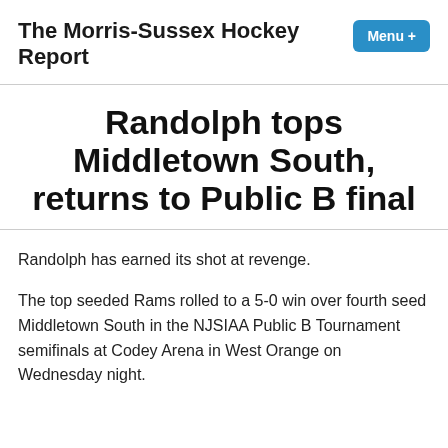The Morris-Sussex Hockey Report
Randolph tops Middletown South, returns to Public B final
Randolph has earned its shot at revenge.
The top seeded Rams rolled to a 5-0 win over fourth seed Middletown South in the NJSIAA Public B Tournament semifinals at Codey Arena in West Orange on Wednesday night.